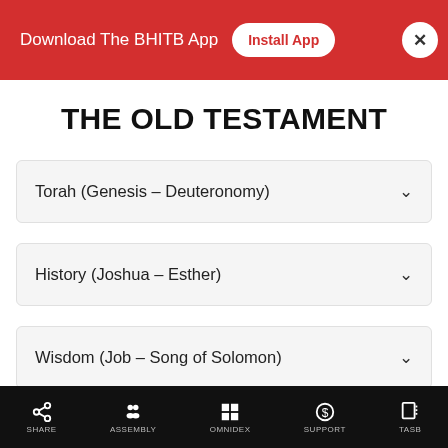Download The BHITB App  Install App
THE OLD TESTAMENT
Torah (Genesis – Deuteronomy)
History (Joshua – Esther)
Wisdom (Job – Song of Solomon)
SHARE  ASSEMBLY  OMNIDEX  SUPPORT  TASB